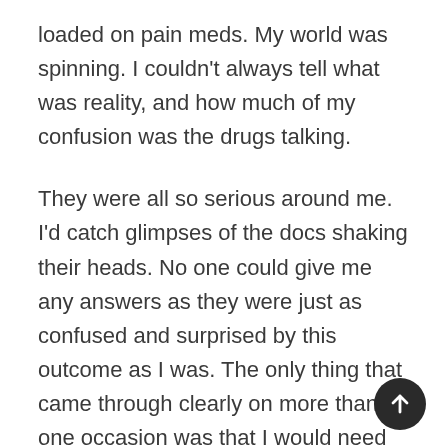loaded on pain meds. My world was spinning. I couldn't always tell what was reality, and how much of my confusion was the drugs talking.
They were all so serious around me. I'd catch glimpses of the docs shaking their heads. No one could give me any answers as they were just as confused and surprised by this outcome as I was. The only thing that came through clearly on more than one occasion was that I would need to “learn to walk again.”